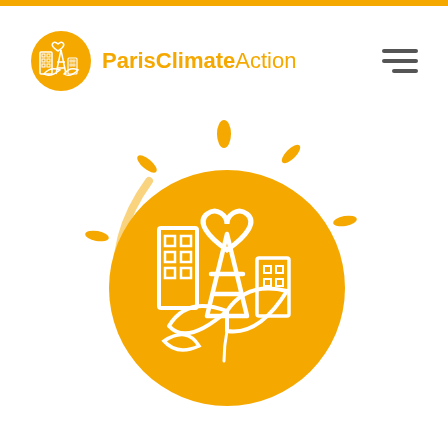[Figure (logo): Paris Climate Action logo in header: orange circular icon with city/Eiffel tower/leaf motif, text 'ParisClimateAction' in orange]
[Figure (logo): Large Paris Climate Action central logo: large orange circle with white outline illustration of Eiffel Tower, buildings, heart, and leaves/nature, with sun rays around the circle, all in orange and white]